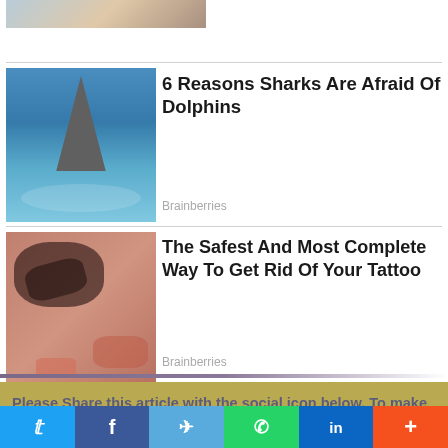[Figure (photo): Partial image strip at top of page, cropped]
[Figure (photo): Shark jumping out of ocean water]
6 Reasons Sharks Are Afraid Of Dolphins
Brainberries
[Figure (photo): Tattoo removal procedure on skin]
The Safest And Most Complete Way To Get Rid Of Your Tattoo
Brainberries
Please Share this article with the social icon below, To make sure you are onboard with us and never miss any articles, Please follow us on Twitter here
[Figure (infographic): Social share bar with Twitter, Facebook, Telegram, WhatsApp, LinkedIn, and more buttons]